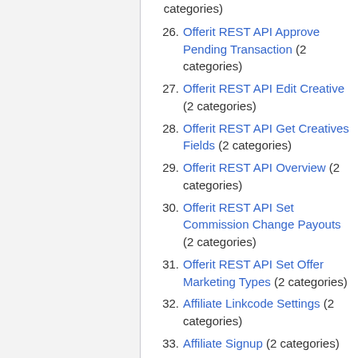categories)
26. Offerit REST API Approve Pending Transaction (2 categories)
27. Offerit REST API Edit Creative (2 categories)
28. Offerit REST API Get Creatives Fields (2 categories)
29. Offerit REST API Overview (2 categories)
30. Offerit REST API Set Commission Change Payouts (2 categories)
31. Offerit REST API Set Offer Marketing Types (2 categories)
32. Affiliate Linkcode Settings (2 categories)
33. Affiliate Signup (2 categories)
34. Offer Partner (2 categories)
35. Offerit REST API Add